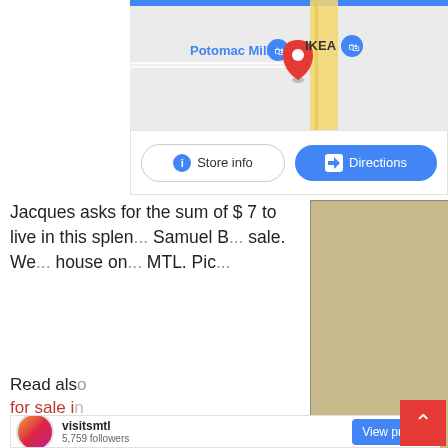[Figure (screenshot): Google Maps showing Potomac Mills and IKEA locations with a red pin marker, with blue top bar]
[Figure (screenshot): Store info and Directions buttons below the map]
Jacques asks for the sum of $ 7 to live in this splen... Samuel B... sale. We... house on... MTL. Pic...
Read also
for sale in
[Figure (screenshot): Video overlay with Top Articles badge, showing classroom scene. Caption: De l'aide dans chaque classe. Deux écoles du Centre-du-Québec vivent une rentrée particulière. On y compte une nouvelle]
[Figure (screenshot): Instagram profile section: visitsmtl, 5,759 followers, View profile button]